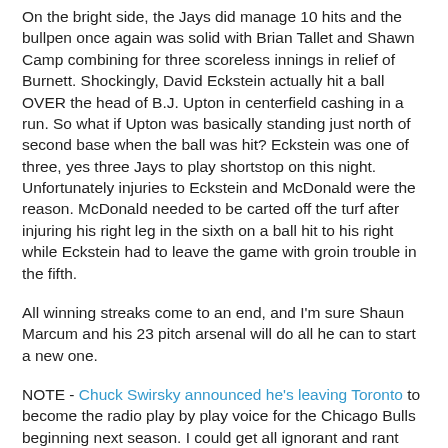On the bright side, the Jays did manage 10 hits and the bullpen once again was solid with Brian Tallet and Shawn Camp combining for three scoreless innings in relief of Burnett. Shockingly, David Eckstein actually hit a ball OVER the head of B.J. Upton in centerfield cashing in a run. So what if Upton was basically standing just north of second base when the ball was hit? Eckstein was one of three, yes three Jays to play shortstop on this night. Unfortunately injuries to Eckstein and McDonald were the reason. McDonald needed to be carted off the turf after injuring his right leg in the sixth on a ball hit to his right while Eckstein had to leave the game with groin trouble in the fifth.
All winning streaks come to an end, and I'm sure Shaun Marcum and his 23 pitch arsenal will do all he can to start a new one.
NOTE - Chuck Swirsky announced he's leaving Toronto to become the radio play by play voice for the Chicago Bulls beginning next season. I could get all ignorant and rant about why this kicks ass in so many ways, but am quite positive you all share the same sentiment in that regard. If